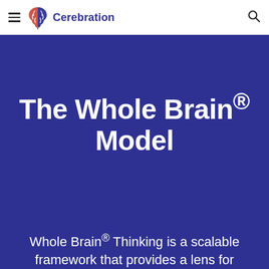Cerebration
The Whole Brain® Model
Whole Brain® Thinking is a scalable framework that provides a lens for